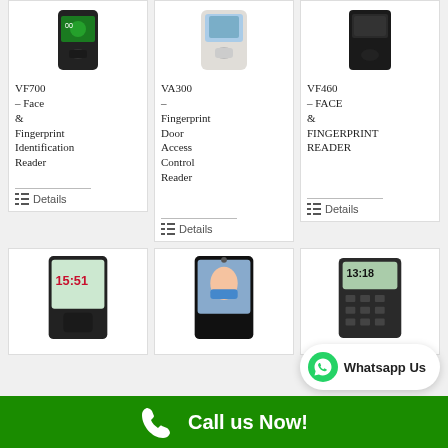[Figure (photo): VF700 Face & Fingerprint identification reader device – green and black unit]
VF700 – Face & Fingerprint Identification Reader
Details
[Figure (photo): VA300 white fingerprint door access control reader device]
VA300 – Fingerprint Door Access Control Reader
Details
[Figure (photo): VF460 black face & fingerprint reader device]
VF460 – FACE & FINGERPRINT READER
Details
[Figure (photo): Black device with screen showing 15:51, fingerprint scanner at bottom]
[Figure (photo): Black device with face detection camera showing person with mask]
[Figure (photo): Black device with keypad and screen showing 13:18]
Whatsapp Us
Call us Now!